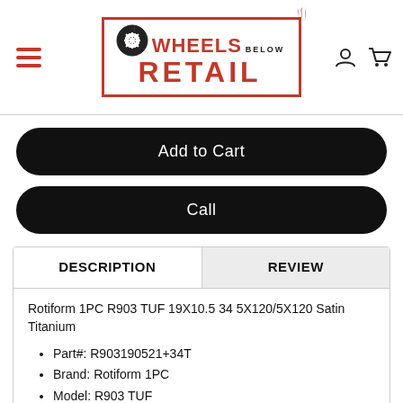Wheels Below Retail — site header with logo, hamburger menu, account and cart icons
Add to Cart
Call
DESCRIPTION
REVIEW
Rotiform 1PC R903 TUF 19X10.5 34 5X120/5X120 Satin Titanium
Part#: R903190521+34T
Brand: Rotiform 1PC
Model: R903 TUF